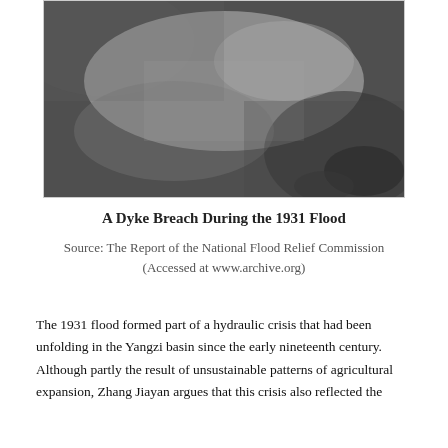[Figure (photo): A grainy black and white aerial or close-up photograph of a dyke breach during the 1931 flood, showing turbulent water and eroded earth.]
A Dyke Breach During the 1931 Flood
Source: The Report of the National Flood Relief Commission (Accessed at www.archive.org)
The 1931 flood formed part of a hydraulic crisis that had been unfolding in the Yangzi basin since the early nineteenth century. Although partly the result of unsustainable patterns of agricultural expansion, Zhang Jiayan argues that this crisis also reflected the